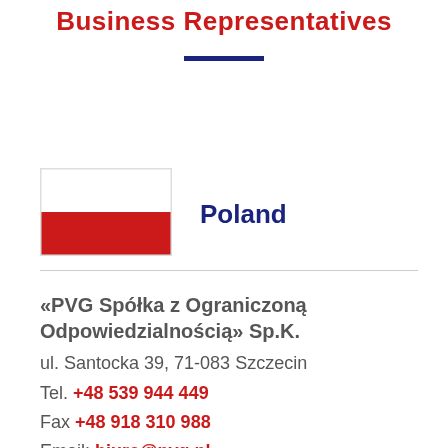Business Representatives
[Figure (illustration): Polish flag — white top half, red bottom half, with a thin border]
Poland
«PVG Spółka z Ograniczoną Odpowiedzialnością» Sp.K.
ul. Santocka 39, 71-083 Szczecin
Tel. +48 539 944 449
Fax +48 918 310 988
Email: biuro@pvg.pl